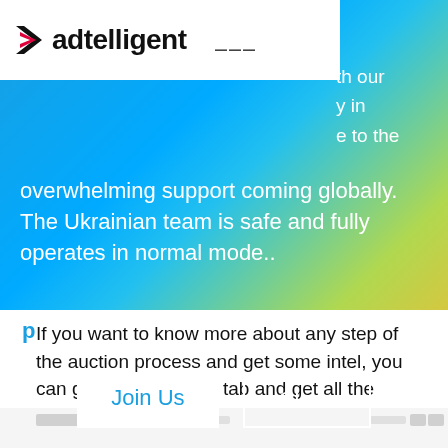[Figure (screenshot): Adtelligent website navigation bar with logo and hamburger menu on white background, overlaid on a blue-to-yellow gradient banner. Partially visible text on right side: 'th our', 'y in', 'e to the']
overwhelming support coming globally. The Ukrainian team is safe and fully operates in normal mode..
[Figure (other): Two buttons: 'Join Us' (white background, blue text) and 'Close' (transparent background, white text with white border)]
If you want to know more about any step of the auction process and get some intel, you can go to the Reports tab and get all the data you need. In addition, information on the metrics can be found here.
[Figure (screenshot): Screenshot of Adtelligent dashboard interface showing reports tab with data tables and menu items, rendered in light gray tones]